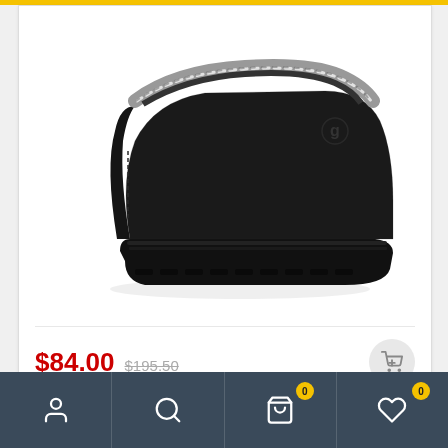[Figure (photo): Black UGG Tasman slipper/clog with grey braided collar trim and UGG logo, shown in side profile on white background]
$84.00 $195.50
Add to Wishlist
Mens Fir – Grey Grey | Dune London Slippers